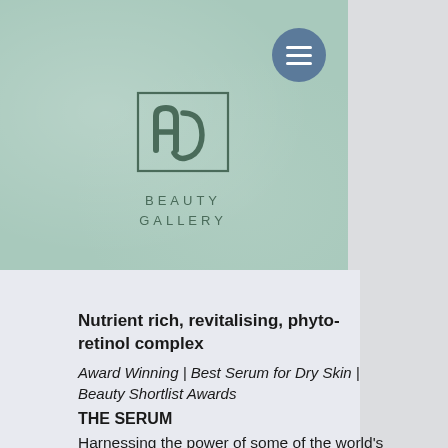[Figure (logo): Beauty Gallery logo — stylized 'hy' monogram in a square frame on mint-green background with BEAUTY GALLERY text below, and a blue circular hamburger menu button in the upper right]
Nutrient rich, revitalising, phyto-retinol complex
Award Winning | Best Serum for Dry Skin | Beauty Shortlist Awards
THE SERUM
Harnessing the power of some of the world's most nutrient-rich botanicals,